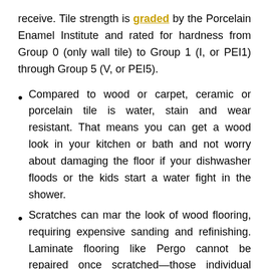receive. Tile strength is graded by the Porcelain Enamel Institute and rated for hardness from Group 0 (only wall tile) to Group 1 (I, or PEI1) through Group 5 (V, or PEI5).
Compared to wood or carpet, ceramic or porcelain tile is water, stain and wear resistant. That means you can get a wood look in your kitchen or bath and not worry about damaging the floor if your dishwasher floods or the kids start a water fight in the shower.
Scratches can mar the look of wood flooring, requiring expensive sanding and refinishing. Laminate flooring like Pergo cannot be repaired once scratched—those individual planks need to be replaced. Depending on the grade, ceramic or